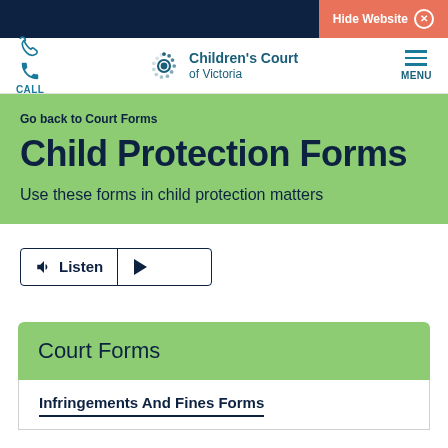Hide Website
CALL | Children's Court of Victoria | MENU
Go back to Court Forms
Child Protection Forms
Use these forms in child protection matters
[Figure (other): Listen audio button with play control]
Court Forms
Infringements And Fines Forms